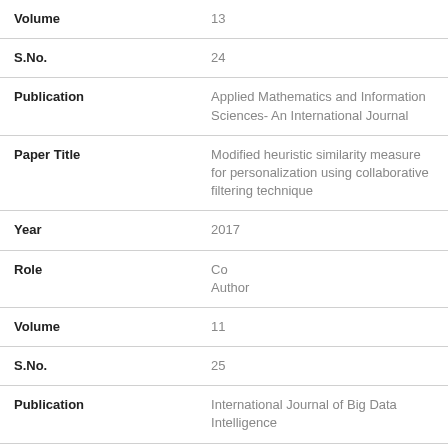| Field | Value |
| --- | --- |
| Volume | 13 |
| S.No. | 24 |
| Publication | Applied Mathematics and Information Sciences- An International Journal |
| Paper Title | Modified heuristic similarity measure for personalization using collaborative filtering technique |
| Year | 2017 |
| Role | Co
Author |
| Volume | 11 |
| S.No. | 25 |
| Publication | International Journal of Big Data Intelligence |